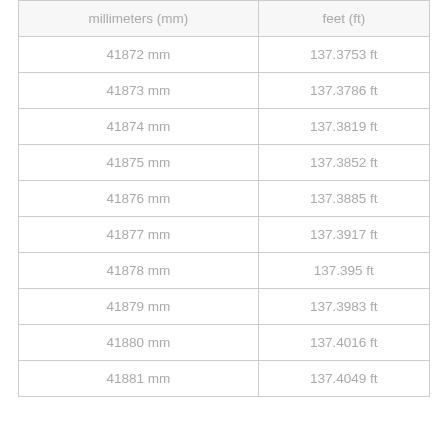| millimeters (mm) | feet (ft) |
| --- | --- |
| 41872 mm | 137.3753 ft |
| 41873 mm | 137.3786 ft |
| 41874 mm | 137.3819 ft |
| 41875 mm | 137.3852 ft |
| 41876 mm | 137.3885 ft |
| 41877 mm | 137.3917 ft |
| 41878 mm | 137.395 ft |
| 41879 mm | 137.3983 ft |
| 41880 mm | 137.4016 ft |
| 41881 mm | 137.4049 ft |